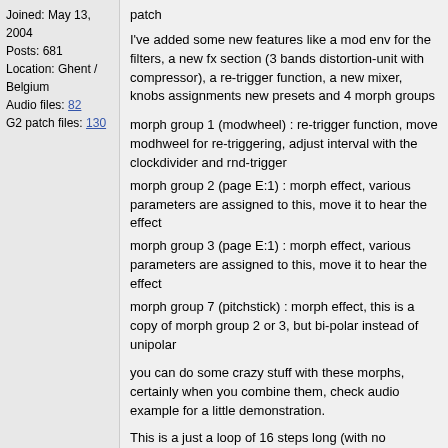Joined: May 13, 2004
Posts: 681
Location: Ghent / Belgium
Audio files: 82
G2 patch files: 130
patch
I've added some new features like a mod env for the filters, a new fx section (3 bands distortion-unit with compressor), a re-trigger function, a new mixer, knobs assignments new presets and 4 morph groups
morph group 1 (modwheel) : re-trigger function, move modhweel for re-triggering, adjust interval with the clockdivider and rnd-trigger
morph group 2 (page E:1) : morph effect, various parameters are assigned to this, move it to hear the effect
morph group 3 (page E:1) : morph effect, various parameters are assigned to this, move it to hear the effect
morph group 7 (pitchstick) : morph effect, this is a copy of morph group 2 or 3, but bi-polar instead of unipolar
you can do some crazy stuff with these morphs, certainly when you combine them, check audio example for a little demonstration.
This is a just a loop of 16 steps long (with no modulations) but if you tweak the morphs (and I've *only* tweaked the morphs during
that recording, nothing else) it gives this kind of result (check mp3 for example, the first 10 seconds is the loop without